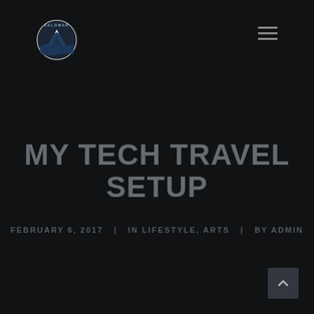[Figure (logo): Circular Palomar logo with mountain and water imagery, dark teal and navy colors, white border ring]
[Figure (other): Hamburger menu icon — three horizontal grey lines stacked vertically]
MY TECH TRAVEL SETUP
FEBRUARY 6, 2017   |   IN LIFESTYLE, ARTS   |   BY ADMIN
[Figure (other): Back-to-top arrow button, dark grey square with upward chevron]